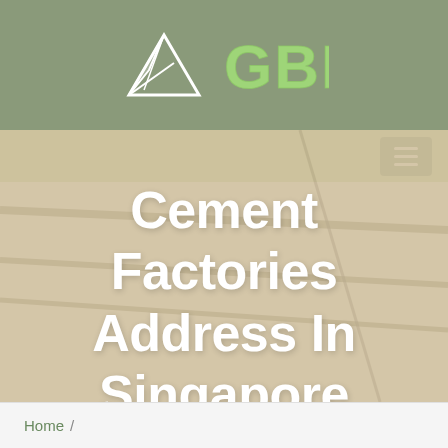[Figure (logo): GBM logo with mountain/paper-plane icon in white on olive/grey background and green GBM text]
[Figure (other): Navigation bar with hamburger menu icon (three white lines on green background)]
Cement Factories Address In Singapore
Home /